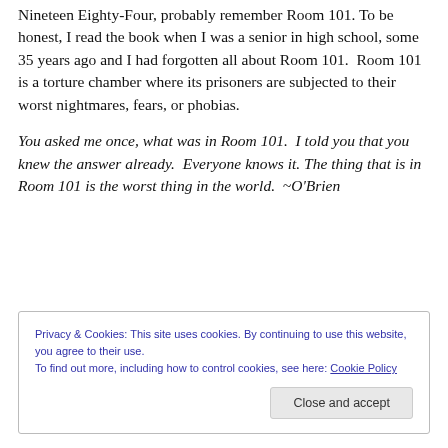Nineteen Eighty-Four, probably remember Room 101. To be honest, I read the book when I was a senior in high school, some 35 years ago and I had forgotten all about Room 101.  Room 101 is a torture chamber where its prisoners are subjected to their worst nightmares, fears, or phobias.
You asked me once, what was in Room 101.  I told you that you knew the answer already.  Everyone knows it.  The thing that is in Room 101 is the worst thing in the world.  ~O'Brien
Privacy & Cookies: This site uses cookies. By continuing to use this website, you agree to their use.
To find out more, including how to control cookies, see here: Cookie Policy